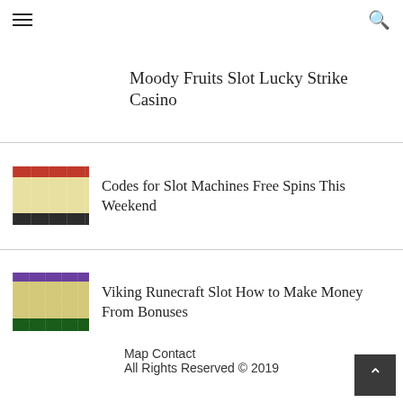☰ [menu] [search]
Moody Fruits Slot Lucky Strike Casino
[Figure (screenshot): Slot machine game screenshot with colorful fruit symbols]
Codes for Slot Machines Free Spins This Weekend
[Figure (screenshot): Viking Runecraft slot machine game screenshot]
Viking Runecraft Slot How to Make Money From Bonuses
Map Contact
All Rights Reserved © 2019